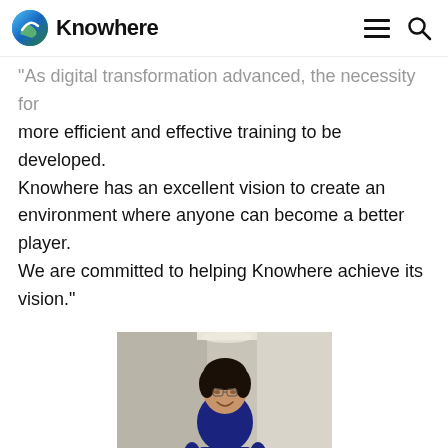Knowhere
As digital transformation advanced, the necessity for more efficient and effective training to be developed. Knowhere has an excellent vision to create an environment where anyone can become a better player. We are committed to helping Knowhere achieve its vision."
[Figure (photo): A young man in a dark navy shirt sitting and smiling, photographed in a bright modern corridor or hallway setting.]